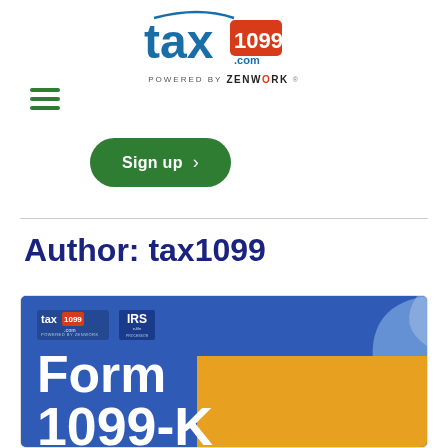[Figure (logo): tax1099.com logo powered by ZENWORK]
[Figure (other): Hamburger menu icon with three green horizontal lines]
Sign up >
Author: tax1099
[Figure (illustration): Article thumbnail showing tax1099.com and IRS e-file logo, with Form 1099-K text on blue and yellow background]